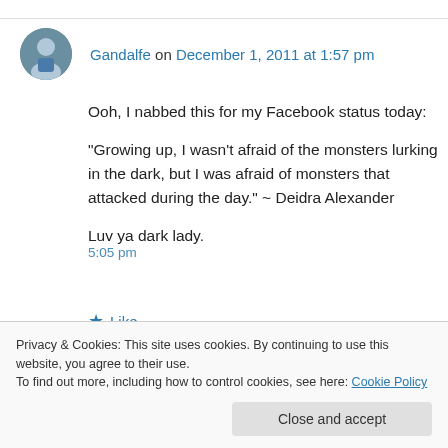Gandalfe on December 1, 2011 at 1:57 pm
Ooh, I nabbed this for my Facebook status today:

“Growing up, I wasn’t afraid of the monsters lurking in the dark, but I was afraid of monsters that attacked during the day.” ~ Deidra Alexander

Luv ya dark lady.
★ Like
5:05 pm
Privacy & Cookies: This site uses cookies. By continuing to use this website, you agree to their use. To find out more, including how to control cookies, see here: Cookie Policy

Close and accept